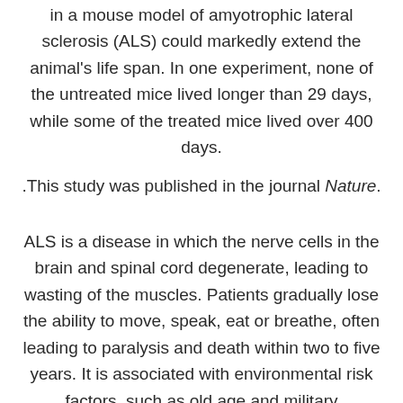in a mouse model of amyotrophic lateral sclerosis (ALS) could markedly extend the animal's life span. In one experiment, none of the untreated mice lived longer than 29 days, while some of the treated mice lived over 400 days.
This study was published in the journal Nature.
ALS is a disease in which the nerve cells in the brain and spinal cord degenerate, leading to wasting of the muscles. Patients gradually lose the ability to move, speak, eat or breathe, often leading to paralysis and death within two to five years. It is associated with environmental risk factors, such as old age and military